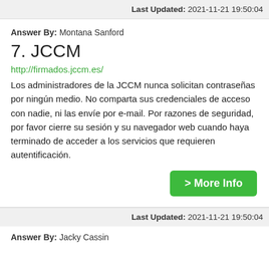Last Updated: 2021-11-21 19:50:04
Answer By: Montana Sanford
7. JCCM
http://firmados.jccm.es/
Los administradores de la JCCM nunca solicitan contraseñas por ningún medio. No comparta sus credenciales de acceso con nadie, ni las envíe por e-mail. Por razones de seguridad, por favor cierre su sesión y su navegador web cuando haya terminado de acceder a los servicios que requieren autentificación.
> More Info
Last Updated: 2021-11-21 19:50:04
Answer By: Jacky Cassin